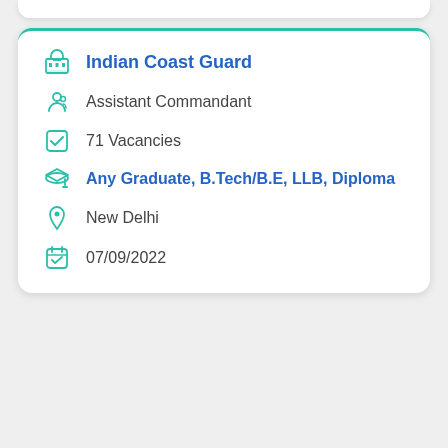Indian Coast Guard
Assistant Commandant
71 Vacancies
Any Graduate, B.Tech/B.E, LLB, Diploma
New Delhi
07/09/2022